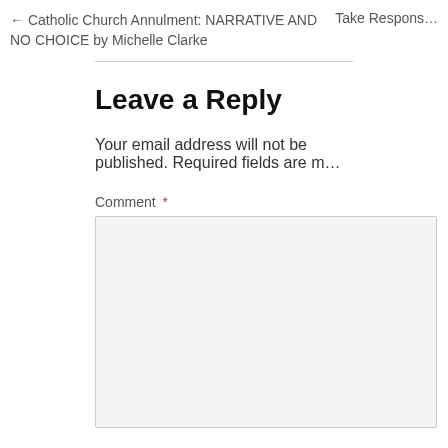← Catholic Church Annulment: NARRATIVE AND NO CHOICE by Michelle Clarke    Take Respons…
Leave a Reply
Your email address will not be published. Required fields are m…
Comment *
Name *